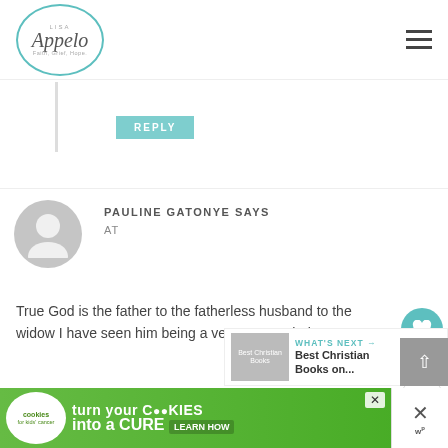[Figure (logo): Lisa Appelo blog logo - circular teal border with cursive name and tagline Faith, Grief, Hope]
REPLY
PAULINE GATONYE SAYS
AT
True God is the father to the fatherless husband to the widow I have seen him being a very present help
REPLY
ANN BROWN SAYS
[Figure (infographic): What's Next widget showing Best Christian Books on...]
[Figure (infographic): Cookies for Kids' Cancer advertisement banner - turn your cookies into a cure learn how]